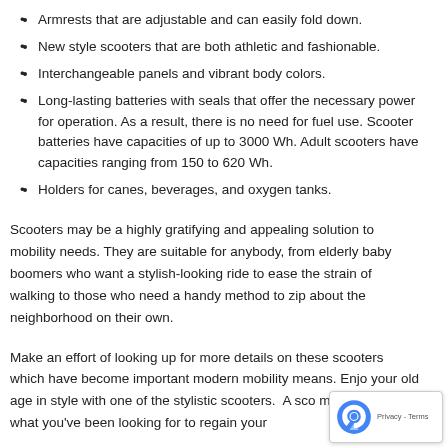move on rugged terrain. The larger wheels in four-wheel scooters allow them to move over rougher terrains.
Armrests that are adjustable and can easily fold down.
New style scooters that are both athletic and fashionable.
Interchangeable panels and vibrant body colors.
Long-lasting batteries with seals that offer the necessary power for operation. As a result, there is no need for fuel use. Scooter batteries have capacities of up to 3000 Wh. Adult scooters have capacities ranging from 150 to 620 Wh.
Holders for canes, beverages, and oxygen tanks.
Scooters may be a highly gratifying and appealing solution to mobility needs. They are suitable for anybody, from elderly baby boomers who want a stylish-looking ride to ease the strain of walking to those who need a handy method to zip about the neighborhood on their own.
Make an effort of looking up for more details on these scooters which have become important modern mobility means. Enjoy your old age in style with one of the stylistic scooters. A scooter may be just what you've been looking for to regain your freedom.